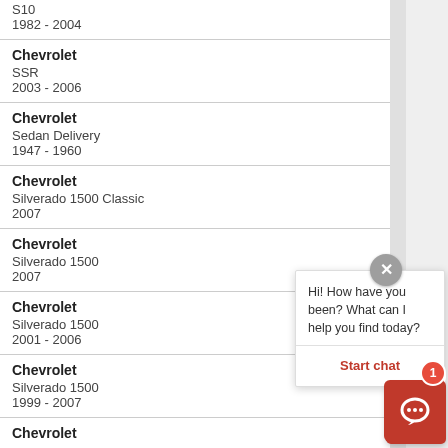S10
1982 - 2004
Chevrolet
SSR
2003 - 2006
Chevrolet
Sedan Delivery
1947 - 1960
Chevrolet
Silverado 1500 Classic
2007
Chevrolet
Silverado 1500
2007
Chevrolet
Silverado 1500
2001 - 2006
Chevrolet
Silverado 1500
1999 - 2007
Chevrolet
Hi! How have you been? What can I help you find today?
Start chat